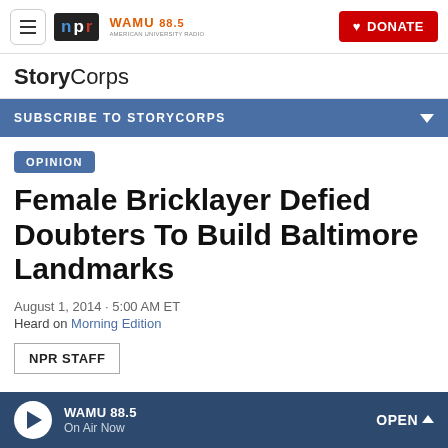NPR | WAMU 88.5 | DONATE
StoryCorps
SUBSCRIBE TO STORYCORPS
OPINION
Female Bricklayer Defied Doubters To Build Baltimore Landmarks
August 1, 2014 · 5:00 AM ET
Heard on Morning Edition
NPR STAFF
WAMU 88.5 On Air Now OPEN